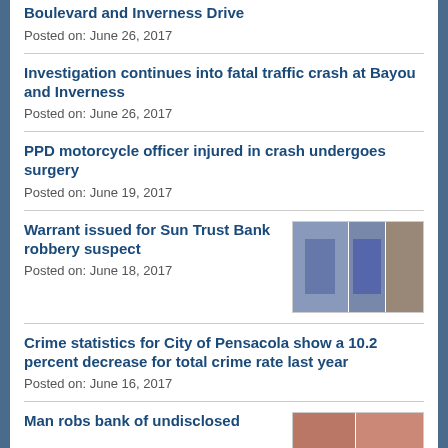Boulevard and Inverness Drive
Posted on: June 26, 2017
Investigation continues into fatal traffic crash at Bayou and Inverness
Posted on: June 26, 2017
PPD motorcycle officer injured in crash undergoes surgery
Posted on: June 19, 2017
Warrant issued for Sun Trust Bank robbery suspect
Posted on: June 18, 2017
[Figure (photo): Three-panel thumbnail image showing bank robbery suspects]
Crime statistics for City of Pensacola show a 10.2 percent decrease for total crime rate last year
Posted on: June 16, 2017
Man robs bank of undisclosed
[Figure (photo): Two-panel thumbnail image related to bank robbery]